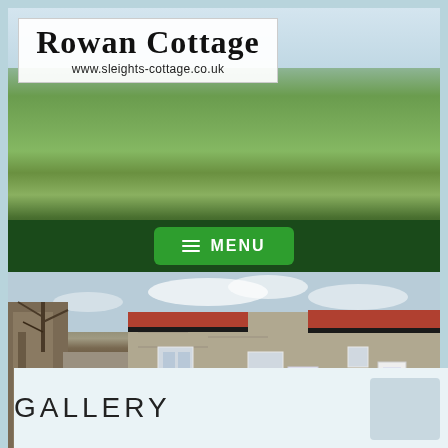[Figure (photo): Aerial countryside landscape with green rolling hills, fields, and blue sky]
Rowan Cottage
www.sleights-cottage.co.uk
[Figure (infographic): Dark green navigation bar with green MENU button and hamburger icon]
[Figure (photo): Exterior photo of a stone cottage building with red tile roof, white doors, and green lawn]
GALLERY